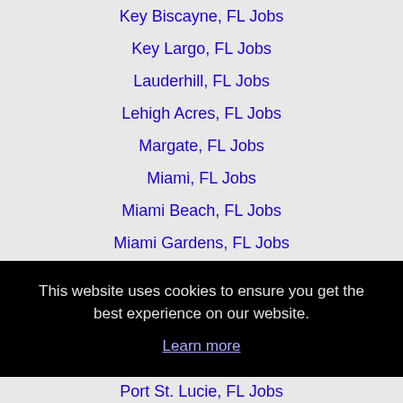Key Biscayne, FL Jobs
Key Largo, FL Jobs
Lauderhill, FL Jobs
Lehigh Acres, FL Jobs
Margate, FL Jobs
Miami, FL Jobs
Miami Beach, FL Jobs
Miami Gardens, FL Jobs
Miami Lakes, FL Jobs
Miramar, FL Jobs
This website uses cookies to ensure you get the best experience on our website.
Learn more
Got it!
Port St. Lucie, FL Jobs